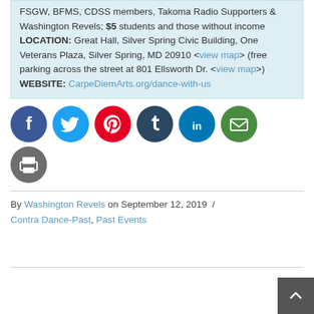FSGW, BFMS, CDSS members, Takoma Radio Supporters & Washington Revels; $5 students and those without income
LOCATION: Great Hall, Silver Spring Civic Building, One Veterans Plaza, Silver Spring, MD 20910 <view map> (free parking across the street at 801 Ellsworth Dr. <view map>)
WEBSITE: CarpeDiemArts.org/dance-with-us
[Figure (illustration): Row of social media sharing icons: Facebook (blue), Twitter (light blue), Pinterest (red), Tumblr (dark navy), LinkedIn (blue), Email (green), and a Print icon (grey)]
By Washington Revels on September 12, 2019 / Contra Dance-Past, Past Events